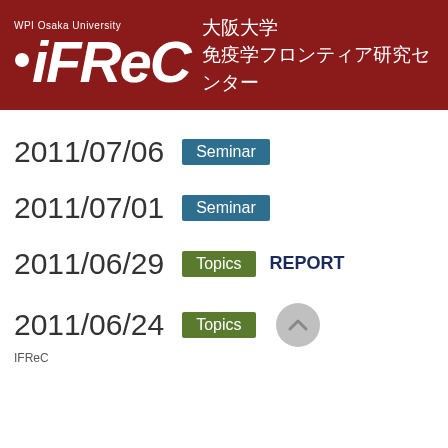[Figure (logo): iFReC WPI Osaka University logo with Japanese text 大阪大学 免疫学フロンティア研究センター on dark red background]
（文字化けテキスト）
2011/07/06
Seminar
（文字化けテキスト）
2011/07/01
Seminar
（文字化けテキスト）
2011/06/29
Topics
REPORT
（文字化けテキスト）
2011/06/24
Topics
IFReC（文字化けテキスト）